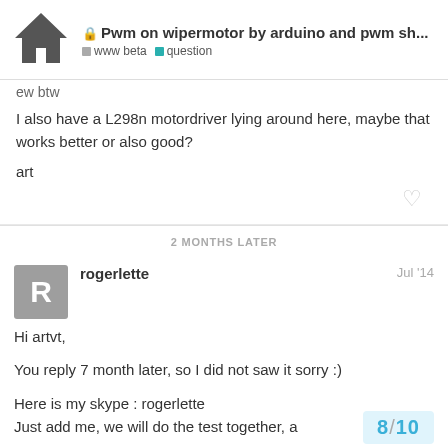Pwm on wipermotor by arduino and pwm sh... | www beta | question
ew btw
I also have a L298n motordriver lying around here, maybe that works better or also good?
art
2 MONTHS LATER
rogerlette  Jul '14
Hi artvt,
You reply 7 month later, so I did not saw it sorry :)
Here is my skype : rogerlette
Just add me, we will do the test together, a